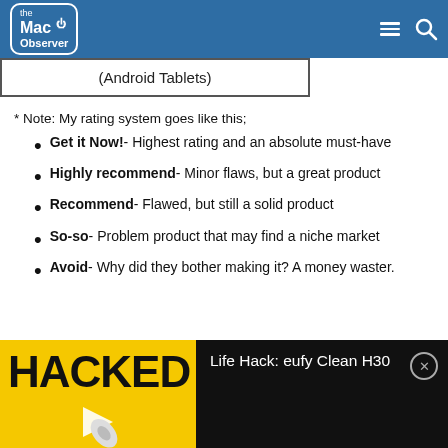the Mac Observer
(Android Tablets)
* Note: My rating system goes like this;
Get it Now! - Highest rating and an absolute must-have
Highly recommend - Minor flaws, but a great product
Recommend - Flawed, but still a solid product
So-so - Problem product that may find a niche market
Avoid - Why did they bother making it? A money waster.
[Figure (advertisement): HACKED advertisement banner with yellow background, rocket graphic, and Life Hack: eufy Clean H30 text on black background]